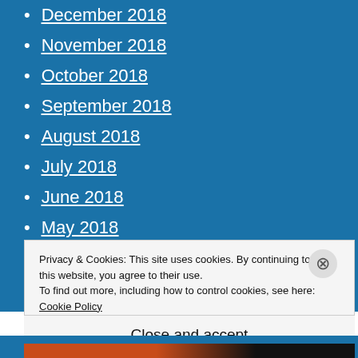December 2018
November 2018
October 2018
September 2018
August 2018
July 2018
June 2018
May 2018
April 2018
March 2018
February 2018
Privacy & Cookies: This site uses cookies. By continuing to use this website, you agree to their use.
To find out more, including how to control cookies, see here: Cookie Policy
Close and accept